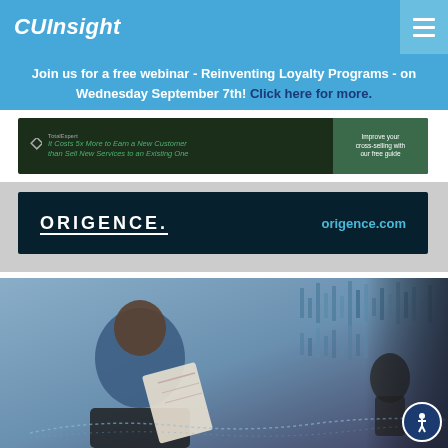CUInsight
Join us for a free webinar - Reinventing Loyalty Programs - on Wednesday September 7th! Click here for more.
[Figure (infographic): TotalExpert advertisement banner: 'It Costs 5x More to Earn a New Customer than Sell New Services to an Existing One' with CTA 'Improve your cross-selling with our free guide']
[Figure (infographic): Origence advertisement banner on dark navy background showing 'ORIGENCE.' logo and 'origence.com' URL]
[Figure (photo): Man in blue shirt smiling, leaning back in office chair while talking on phone and holding documents, with digital data visualization overlay in background]